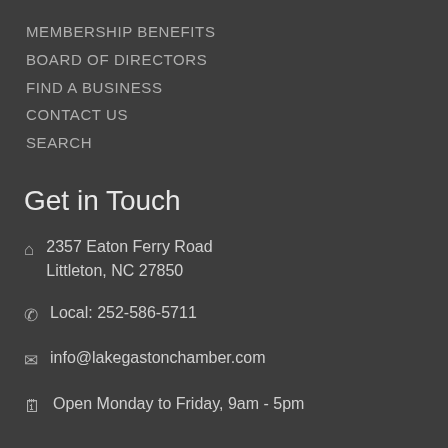MEMBERSHIP BENEFITS
BOARD OF DIRECTORS
FIND A BUSINESS
CONTACT US
SEARCH
Get in Touch
2357 Eaton Ferry Road Littleton, NC 27850
Local: 252-586-5711
info@lakegastonchamber.com
Open Monday to Friday, 9am - 5pm